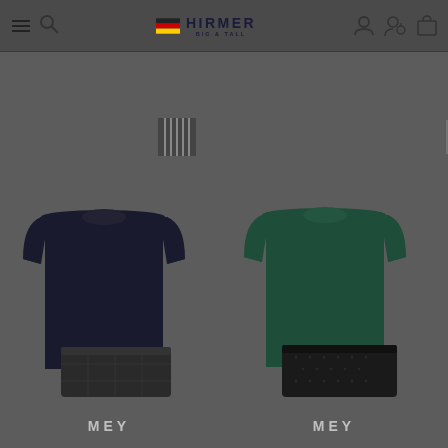[Figure (screenshot): Hirmer Big & Tall e-commerce website header with hamburger menu, search icon, German flag, Hirmer Big & Tall logo, user icon, loyalty icon, and cart icon]
[Figure (screenshot): Product listing page showing two MEY pajama sets. Left: dark navy t-shirt with dark checkered shorts. Right: dark green t-shirt with dark patterned shorts. Grid/list view toggles visible. Both labeled MEY brand below.]